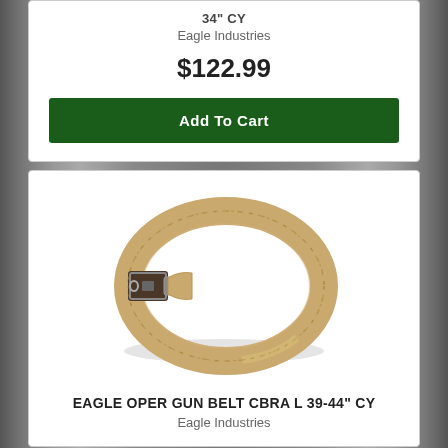34" CY
Eagle Industries
$122.99
Add To Cart
[Figure (photo): A tan/coyote colored tactical gun belt with a metal cobra buckle, coiled in a circle, shown on a white background.]
EAGLE OPER GUN BELT CBRA L 39-44" CY
Eagle Industries